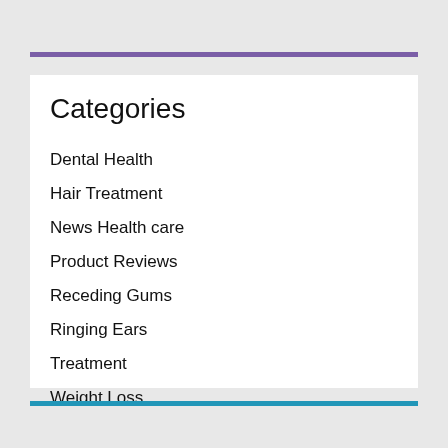Categories
Dental Health
Hair Treatment
News Health care
Product Reviews
Receding Gums
Ringing Ears
Treatment
Weight Loss